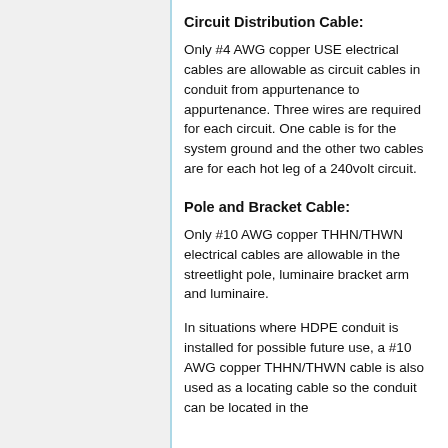Circuit Distribution Cable:
Only #4 AWG copper USE electrical cables are allowable as circuit cables in conduit from appurtenance to appurtenance. Three wires are required for each circuit. One cable is for the system ground and the other two cables are for each hot leg of a 240volt circuit.
Pole and Bracket Cable:
Only #10 AWG copper THHN/THWN electrical cables are allowable in the streetlight pole, luminaire bracket arm and luminaire.
In situations where HDPE conduit is installed for possible future use, a #10 AWG copper THHN/THWN cable is also used as a locating cable so the conduit can be located in the